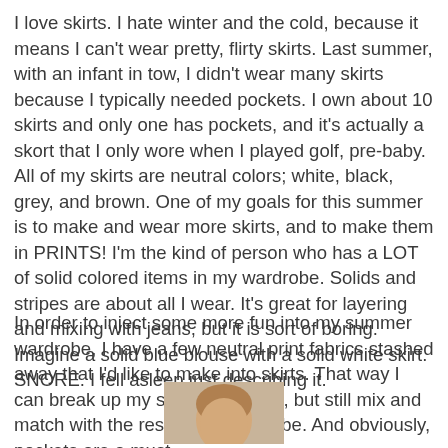I love skirts. I hate winter and the cold, because it means I can't wear pretty, flirty skirts. Last summer, with an infant in tow, I didn't wear many skirts because I typically needed pockets. I own about 10 skirts and only one has pockets, and it's actually a skort that I only wore when I played golf, pre-baby. All of my skirts are neutral colors; white, black, grey, and brown. One of my goals for this summer is to make and wear more skirts, and to make them in PRINTS! I'm the kind of person who has a LOT of solid colored items in my wardrobe. Solids and stripes are about all I wear. It's great for layering and mixing with jeans, but it is sort of boring. Imagine a solid blue blouse with a solid white skirt. SNORE. I fell asleep just describing it.
In order to inject some more fun into my summer wardrobe, I have a few neutral print fabrics stashed away that I'd like to make into skirts. That way I can break up my sad solid colors, but still mix and match with the rest of my wardrobe. And obviously, pockets are a must.
[Figure (photo): Partial photo of a person's face/head, cropped at bottom of page, with warm beige/tan background]